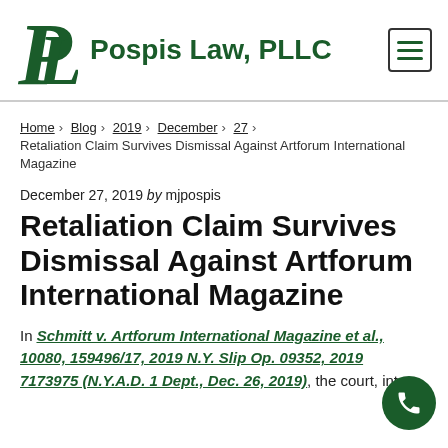Pospis Law, PLLC
Home > Blog > 2019 > December > 27 > Retaliation Claim Survives Dismissal Against Artforum International Magazine
December 27, 2019 by mjpospis
Retaliation Claim Survives Dismissal Against Artforum International Magazine
In Schmitt v. Artforum International Magazine et al., 10080, 159496/17, 2019 N.Y. Slip Op. 09352, 2019 WL 7173975 (N.Y.A.D. 1 Dept., Dec. 26, 2019), the court, inter